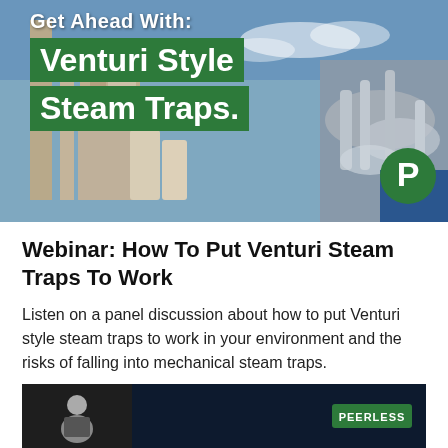[Figure (photo): Industrial facility with chimney stacks and pipe fittings, overlaid with green title boxes reading 'Get Ahead With: Venturi Style Steam Traps' and a Peerless logo badge]
Webinar: How To Put Venturi Steam Traps To Work
Listen on a panel discussion about how to put Venturi style steam traps to work in your environment and the risks of falling into mechanical steam traps.
eLearning Recordings, Steam Traps
[Figure (screenshot): Preview thumbnail of a webinar video showing a presenter and the Peerless logo on a dark background]